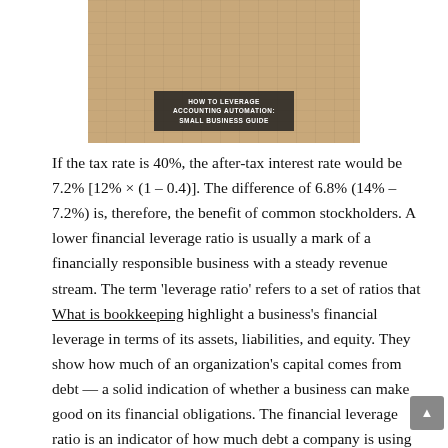[Figure (photo): A photo of a person reviewing financial documents/spreadsheets on a desk with a calculator, with a dark overlay text box reading 'HOW TO LEVERAGE ACCOUNTING AUTOMATION: SMALL BUSINESS GUIDE']
If the tax rate is 40%, the after-tax interest rate would be 7.2% [12% × (1 – 0.4)]. The difference of 6.8% (14% – 7.2%) is, therefore, the benefit of common stockholders. A lower financial leverage ratio is usually a mark of a financially responsible business with a steady revenue stream. The term 'leverage ratio' refers to a set of ratios that What is bookkeeping highlight a business's financial leverage in terms of its assets, liabilities, and equity. They show how much of an organization's capital comes from debt — a solid indication of whether a business can make good on its financial obligations. The financial leverage ratio is an indicator of how much debt a company is using to finance its